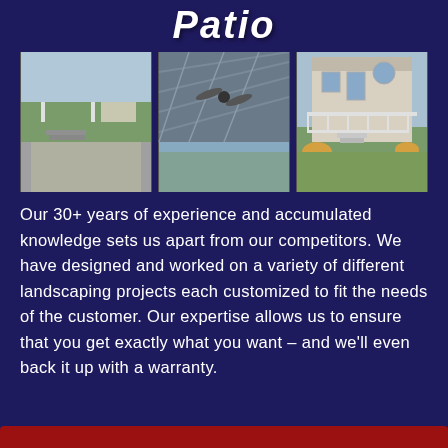Patio
[Figure (photo): Three outdoor landscaping/patio photos side by side: left shows a pergola with patio and lawn, center shows a covered patio ceiling with fan, right shows a raised deck/porch on a house with landscaping]
Our 30+ years of experience and accumulated knowledge sets us apart from our competitors. We have designed and worked on a variety of different landscaping projects each customized to fit the needs of the customer. Our expertise allows us to ensure that you get exactly what you want – and we'll even back it up with a warranty.